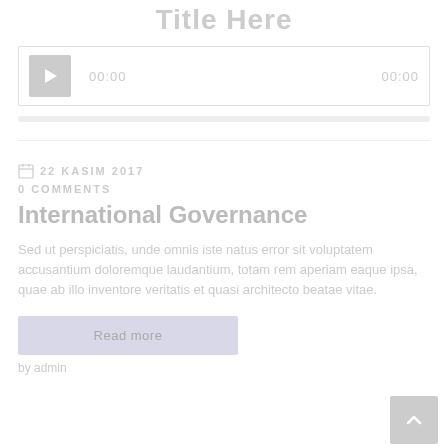Title Here
[Figure (screenshot): Audio/video media player widget with play button, 00:00 current time, 00:00 duration, and progress bar]
22 KASIM 2017
0 COMMENTS
International Governance
Sed ut perspiciatis, unde omnis iste natus error sit voluptatem accusantium doloremque laudantium, totam rem aperiam eaque ipsa, quae ab illo inventore veritatis et quasi architecto beatae vitae.
Read more
by admin